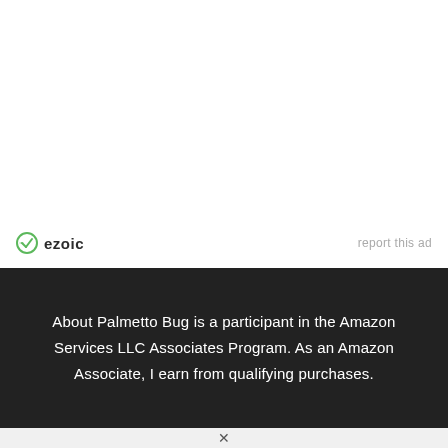[Figure (logo): Ezoic logo with green circle checkmark icon and 'ezoic' text in dark gray]
report this ad
About Palmetto Bug is a participant in the Amazon Services LLC Associates Program. As an Amazon Associate, I earn from qualifying purchases.